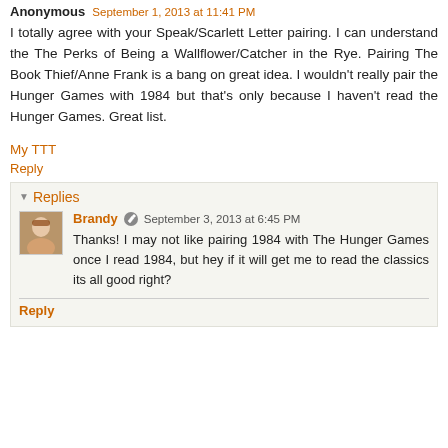Anonymous September 1, 2013 at 11:41 PM
I totally agree with your Speak/Scarlett Letter pairing. I can understand the The Perks of Being a Wallflower/Catcher in the Rye. Pairing The Book Thief/Anne Frank is a bang on great idea. I wouldn't really pair the Hunger Games with 1984 but that's only because I haven't read the Hunger Games. Great list.
My TTT
Reply
▼ Replies
Brandy September 3, 2013 at 6:45 PM
Thanks! I may not like pairing 1984 with The Hunger Games once I read 1984, but hey if it will get me to read the classics its all good right?
Reply